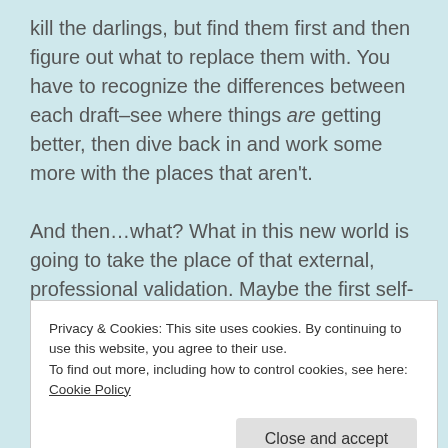kill the darlings, but find them first and then figure out what to replace them with. You have to recognize the differences between each draft–see where things are getting better, then dive back in and work some more with the places that aren't.
And then…what? What in this new world is going to take the place of that external, professional validation. Maybe the first self-publishers, the adventurous ones already taking those steps are braver than me about
Privacy & Cookies: This site uses cookies. By continuing to use this website, you agree to their use.
To find out more, including how to control cookies, see here: Cookie Policy
Writers are not the only ones having this conversation. Agents and editors are tossing thoughts and questions